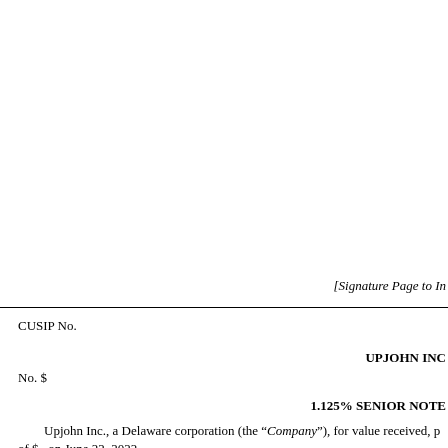[Signature Page to In
CUSIP No.
UPJOHN INC
No. $
1.125% SENIOR NOTE
Upjohn Inc., a Delaware corporation (the “Company”), for value received, p of $ , on June 22, 2022.